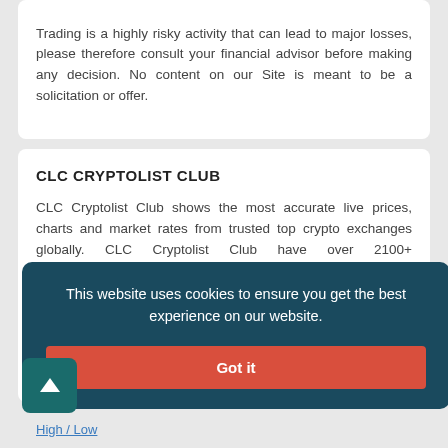Trading is a highly risky activity that can lead to major losses, please therefore consult your financial advisor before making any decision. No content on our Site is meant to be a solicitation or offer.
CLC CRYPTOLIST CLUB
CLC Cryptolist Club shows the most accurate live prices, charts and market rates from trusted top crypto exchanges globally. CLC Cryptolist Club have over 2100+ cryptocurrencies, trusted historical data, details of active, upcoming and finished ICOs. The website provides a list of cryptocurrency and blockchain related events, valid and authentic list of cryptocurrency wallets and Bitcoin mining pools. We also provide rich advertisement campaings to advertise your business on this website.
This website uses cookies to ensure you get the best experience on our website.
Got it
High / Low